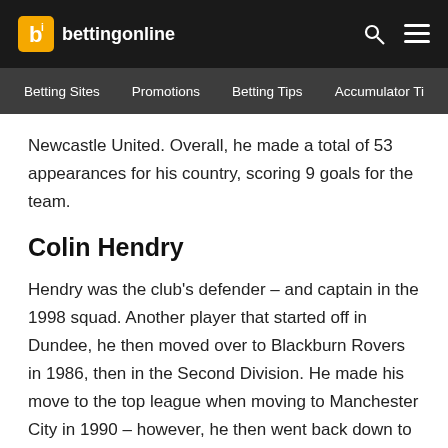bettingonline
Betting Sites | Promotions | Betting Tips | Accumulator Ti
Newcastle United. Overall, he made a total of 53 appearances for his country, scoring 9 goals for the team.
Colin Hendry
Hendry was the club's defender – and captain in the 1998 squad. Another player that started off in Dundee, he then moved over to Blackburn Rovers in 1986, then in the Second Division. He made his move to the top league when moving to Manchester City in 1990 – however, he then went back down to the second on return to Blackburn. This wasn't for long, as they were promoted to the Premier League in 1992. It was with Blackburn